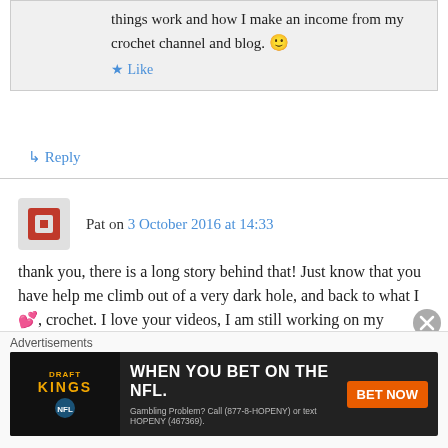things work and how I make an income from my crochet channel and blog. 🙂
★ Like
↳ Reply
Pat on 3 October 2016 at 14:33
thank you, there is a long story behind that! Just know that you have help me climb out of a very dark hole, and back to what I 💕, crochet. I love your videos, I am still working on my mandala and next I will be doing Sophie. I started Sophie so many times, ( before I found your video) and
Advertisements
[Figure (other): DraftKings NFL advertisement banner: 'WHEN YOU BET ON THE NFL.' with BET NOW button and gambling problem disclaimer]